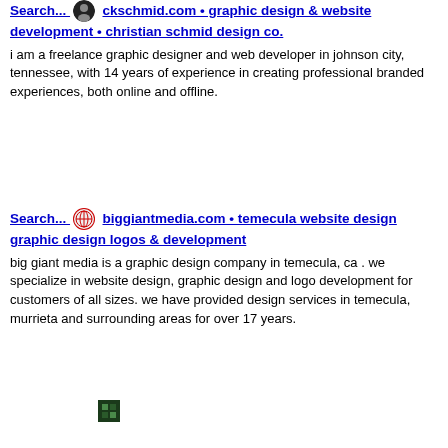Search... [favicon] ckschmid.com • graphic design & website development • christian schmid design co.
i am a freelance graphic designer and web developer in johnson city, tennessee, with 14 years of experience in creating professional branded experiences, both online and offline.
Search... [favicon] biggiantmedia.com • temecula website design graphic design logos & development
big giant media is a graphic design company in temecula, ca . we specialize in website design, graphic design and logo development for customers of all sizes. we have provided design services in temecula, murrieta and surrounding areas for over 17 years.
[Figure (logo): Small favicon/logo thumbnail at bottom of page]